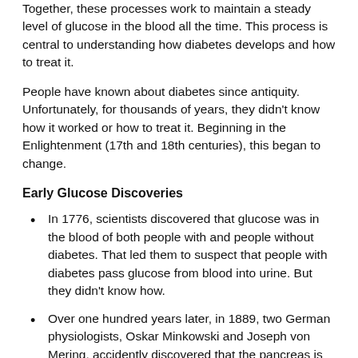Together, these processes work to maintain a steady level of glucose in the blood all the time. This process is central to understanding how diabetes develops and how to treat it.
People have known about diabetes since antiquity. Unfortunately, for thousands of years, they didn't know how it worked or how to treat it. Beginning in the Enlightenment (17th and 18th centuries), this began to change.
Early Glucose Discoveries
In 1776, scientists discovered that glucose was in the blood of both people with and people without diabetes. That led them to suspect that people with diabetes pass glucose from blood into urine. But they didn't know how.
Over one hundred years later, in 1889, two German physiologists, Oskar Minkowski and Joseph von Mering, accidently discovered that the pancreas is involved in diabetes. As part of their experiments on how the body uses fat, they removed the pancreas of a laboratory dog. Much to their astonishment, the dog urinated again and again. Luckily, the scientists tested the dog's urine for glucose. Sure enough, the dog had developed diabetes